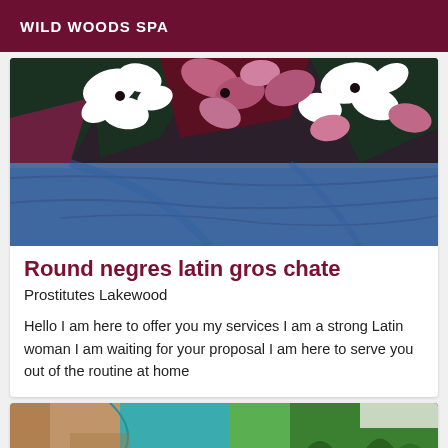WILD WOODS SPA
[Figure (photo): Close-up photo of a person wearing a floral (pink, white, dark green, maroon) patterned top and blue fabric/clothing below]
Round negres latin gros chate
Prostitutes Lakewood
Hello I am here to offer you my services I am a strong Latin woman I am waiting for your proposal I am here to serve you out of the routine at home
[Figure (photo): Partial photo showing a person in a teal/turquoise top with outdoor background]